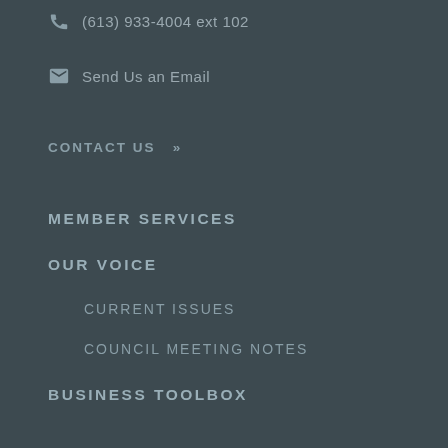(613) 933-4004 ext 102
Send Us an Email
CONTACT US »
MEMBER SERVICES
OUR VOICE
CURRENT ISSUES
COUNCIL MEETING NOTES
BUSINESS TOOLBOX
GROWTH
CHECKUPS
STARTUPS
GRANTS & FINANCIAL SUPPORTS
PROMOTION